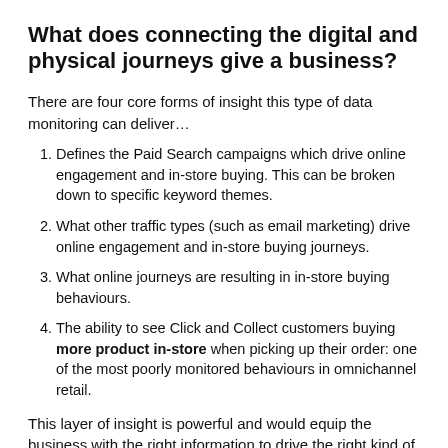What does connecting the digital and physical journeys give a business?
There are four core forms of insight this type of data monitoring can deliver…
Defines the Paid Search campaigns which drive online engagement and in-store buying. This can be broken down to specific keyword themes.
What other traffic types (such as email marketing) drive online engagement and in-store buying journeys.
What online journeys are resulting in in-store buying behaviours.
The ability to see Click and Collect customers buying more product in-store when picking up their order: one of the most poorly monitored behaviours in omnichannel retail.
This layer of insight is powerful and would equip the business with the right information to drive the right kind of change in